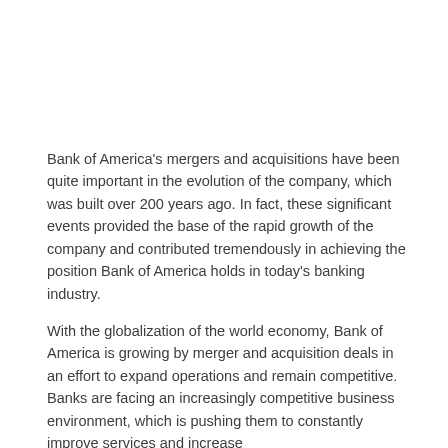Bank of America's mergers and acquisitions have been quite important in the evolution of the company, which was built over 200 years ago. In fact, these significant events provided the base of the rapid growth of the company and contributed tremendously in achieving the position Bank of America holds in today's banking industry.
With the globalization of the world economy, Bank of America is growing by merger and acquisition deals in an effort to expand operations and remain competitive. Banks are facing an increasingly competitive business environment, which is pushing them to constantly improve services and increase